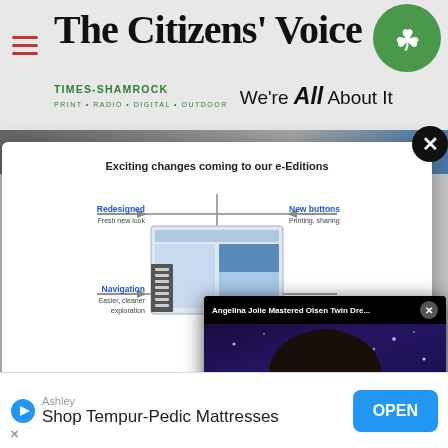The Citizens' Voice
[Figure (logo): Times-Shamrock logo with tagline 'We're All About It']
[Figure (screenshot): Modal popup showing 'Exciting changes coming to our e-Editions' with redesign diagram]
[Figure (photo): Video popup: Angelina Jolie Mastered Olsen Twin Dre... with photo of woman and mute button]
Ashley
Shop Tempur-Pedic Mattresses
OPEN